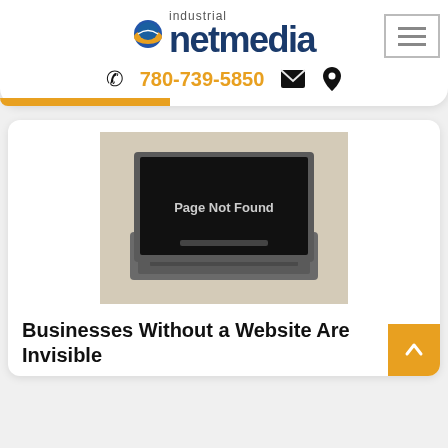[Figure (logo): Industrial NetMedia logo with globe icon, 'industrial' text above 'netmedia' in large dark blue bold font]
780-739-5850
[Figure (photo): Old laptop computer displaying 'Page Not Found' on a black screen, beige background]
Businesses Without a Website Are Invisible